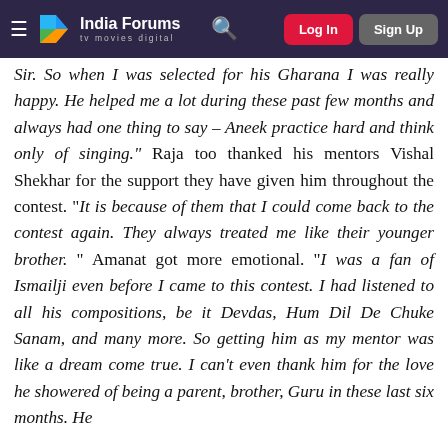India Forums — tv movies digital | Log In | Sign Up
Sir. So when I was selected for his Gharana I was really happy. He helped me a lot during these past few months and always had one thing to say – Aneek practice hard and think only of singing." Raja too thanked his mentors Vishal Shekhar for the support they have given him throughout the contest. "It is because of them that I could come back to the contest again. They always treated me like their younger brother. " Amanat got more emotional. "I was a fan of Ismailji even before I came to this contest. I had listened to all his compositions, be it Devdas, Hum Dil De Chuke Sanam, and many more. So getting him as my mentor was like a dream come true. I can't even thank him for the love he showered of being a parent, brother, Guru in these last six months. He